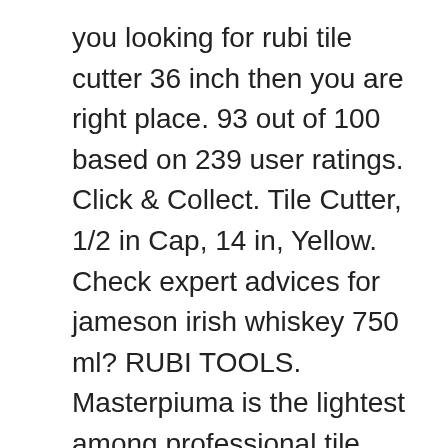you looking for rubi tile cutter 36 inch then you are right place. 93 out of 100 based on 239 user ratings. Click & Collect. Tile Cutter, 1/2 in Cap, 14 in, Yellow. Check expert advices for jameson irish whiskey 750 ml? RUBI TOOLS. Masterpiuma is the lightest among professional tile cutters. As low as $776.00. There was an error retrieving your Wish Lists. 4.4 out of 5 stars 619. 0800 783 6262; View All. Associate Mike provides a demonstration of Rubi's Star 24 against a comparible tile cutter. item 1 Rubi 36 in. 100% Made in Italy. 10. What are a few brands that you carry in tile cutters? Top 6 best chinoshio natural cleansing oil 150ml: Which is the best one in 2019? We carry Rubi, OEP,